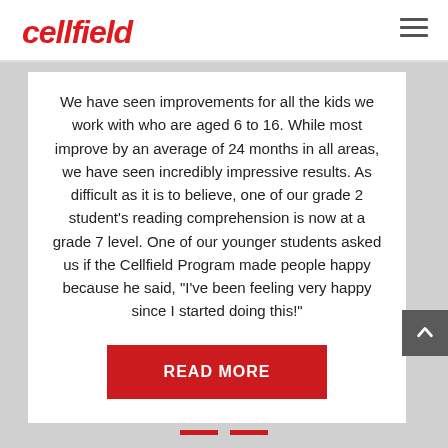cellfield
We have seen improvements for all the kids we work with who are aged 6 to 16. While most improve by an average of 24 months in all areas, we have seen incredibly impressive results. As difficult as it is to believe, one of our grade 2 student's reading comprehension is now at a grade 7 level. One of our younger students asked us if the Cellfield Program made people happy because he said, "I've been feeling very happy since I started doing this!"
READ MORE